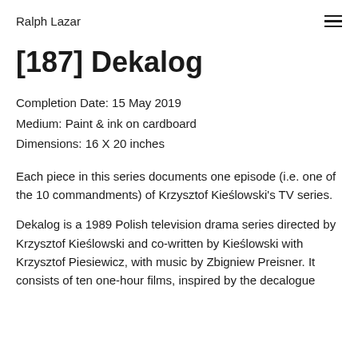Ralph Lazar
[187] Dekalog
Completion Date: 15 May 2019
Medium: Paint & ink on cardboard
Dimensions: 16 X 20 inches
Each piece in this series documents one episode (i.e. one of the 10 commandments) of Krzysztof Kieślowski's TV series.
Dekalog is a 1989 Polish television drama series directed by Krzysztof Kieślowski and co-written by Kieślowski with Krzysztof Piesiewicz, with music by Zbigniew Preisner. It consists of ten one-hour films, inspired by the decalogue